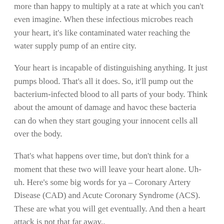more than happy to multiply at a rate at which you can't even imagine. When these infectious microbes reach your heart, it's like contaminated water reaching the water supply pump of an entire city.
Your heart is incapable of distinguishing anything. It just pumps blood. That's all it does. So, it'll pump out the bacterium-infected blood to all parts of your body. Think about the amount of damage and havoc these bacteria can do when they start gouging your innocent cells all over the body.
That's what happens over time, but don't think for a moment that these two will leave your heart alone. Uh-uh. Here's some big words for ya – Coronary Artery Disease (CAD) and Acute Coronary Syndrome (ACS). These are what you will get eventually. And then a heart attack is not that far away..